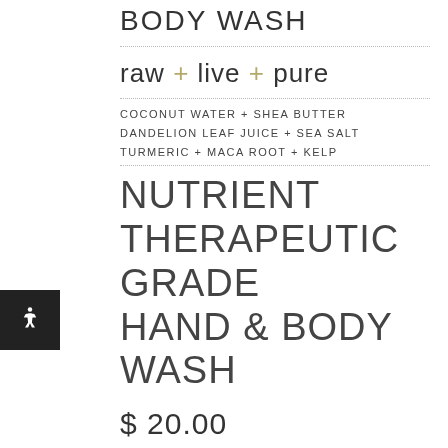BODY WASH
raw + live + pure
COCONUT WATER + SHEA BUTTER
DANDELION LEAF JUICE + SEA SALT
TURMERIC + MACA ROOT + KELP
NUTRIENT THERAPEUTIC GRADE HAND & BODY WASH
$ 20.00
ONE-TIME PURCHASE
SUBSCRIBE
QUANTITY: 1